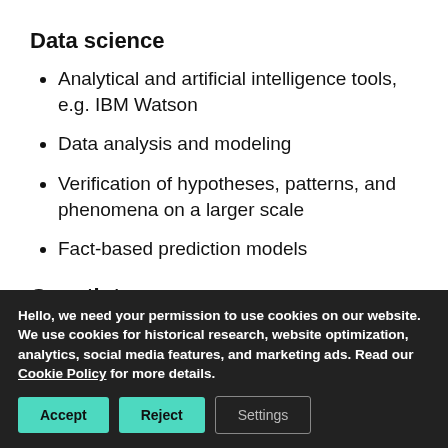Data science
Analytical and artificial intelligence tools, e.g. IBM Watson
Data analysis and modeling
Verification of hypotheses, patterns, and phenomena on a larger scale
Fact-based prediction models
Growth teams
A range of experts in data science, design,
Hello, we need your permission to use cookies on our website. We use cookies for historical research, website optimization, analytics, social media features, and marketing ads. Read our Cookie Policy for more details.